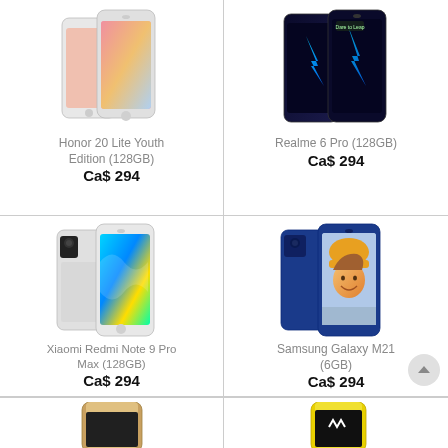[Figure (photo): Honor 20 Lite Youth Edition smartphone product photo]
Honor 20 Lite Youth Edition (128GB)
Ca$ 294
[Figure (photo): Realme 6 Pro (128GB) smartphone product photo]
Realme 6 Pro (128GB)
Ca$ 294
[Figure (photo): Xiaomi Redmi Note 9 Pro Max (128GB) smartphone product photo]
Xiaomi Redmi Note 9 Pro Max (128GB)
Ca$ 294
[Figure (photo): Samsung Galaxy M21 (6GB) smartphone product photo]
Samsung Galaxy M21 (6GB)
Ca$ 294
[Figure (photo): Partial view of another smartphone product (bottom row, left)]
[Figure (photo): Partial view of another smartphone product (bottom row, right)]